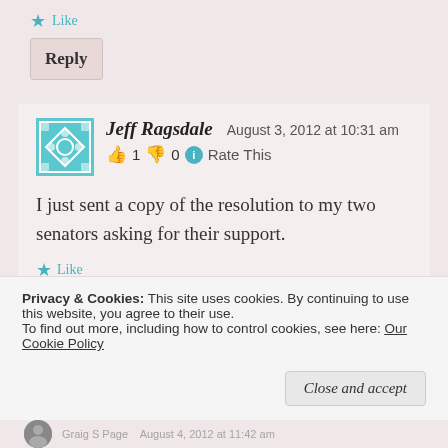★ Like
Reply
Jeff Ragsdale   August 3, 2012 at 10:31 am
👍 1 👎 0 ℹ Rate This
I just sent a copy of the resolution to my two senators asking for their support.
★ Like
Privacy & Cookies: This site uses cookies. By continuing to use this website, you agree to their use.
To find out more, including how to control cookies, see here: Our Cookie Policy
Close and accept